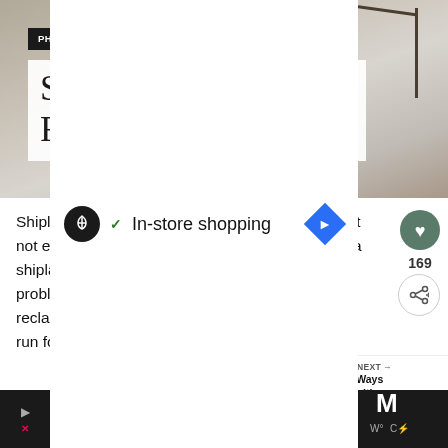[Figure (photo): Close-up photo of a shiplap mirror with reclaimed wood frame corner, grey background]
PHOTO CREDIT: www.etsy.com
Shiplap Mirror with Reclaimed wood
Shiplap walls are definitely the thing right now. But not everyone has the space nor the means to do a shiplap wall so this is just the thing to solve the problem. This shiplap mirror is mixed with a little reclaimed wood, that will give any shiplap wall a run for its money.
WHAT'S NEXT → 5 Easy Ways To Transitio...
CHECK IT OUT
In-store shopping